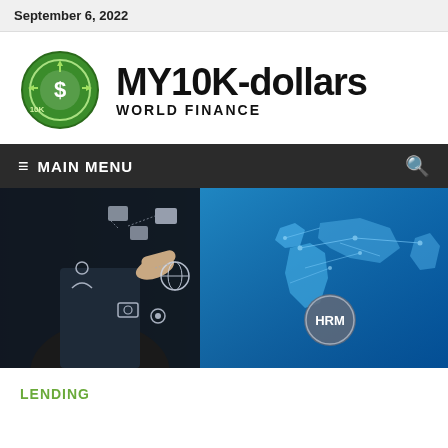September 6, 2022
[Figure (logo): MY10K-dollars World Finance logo: green circular coin icon with dollar sign and '10K' text, followed by bold 'MY10K-dollars' title and 'WORLD FINANCE' subtitle]
≡  MAIN MENU
[Figure (photo): Hero banner: left side shows businessman pointing at digital network icons, right side shows blue world map with glowing connection lines and 'HRM' button overlay]
LENDING